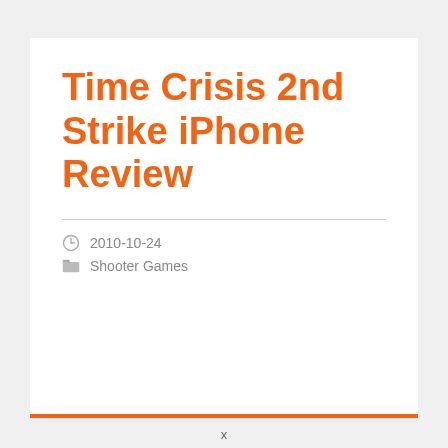Time Crisis 2nd Strike iPhone Review
2010-10-24
Shooter Games